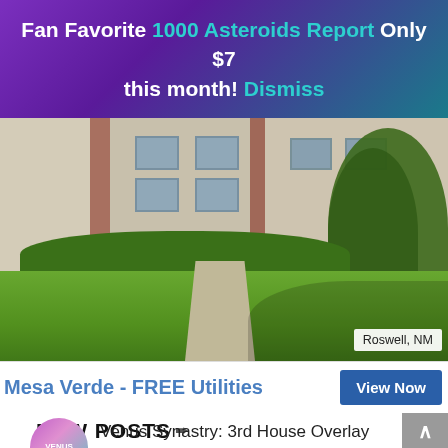Fan Favorite 1000 Asteroids Report Only $7 this month! Dismiss
[Figure (photo): Apartment building exterior with brick accents, green shrubs, lawn, walking path, and trees. Location tag: Roswell, NM.]
Mesa Verde - FREE Utilities
View Now
NEW POSTS >
[Figure (illustration): Circular Venus Synastry logo/icon, pink and teal gradient.]
Venus Synastry: 3rd House Overlay